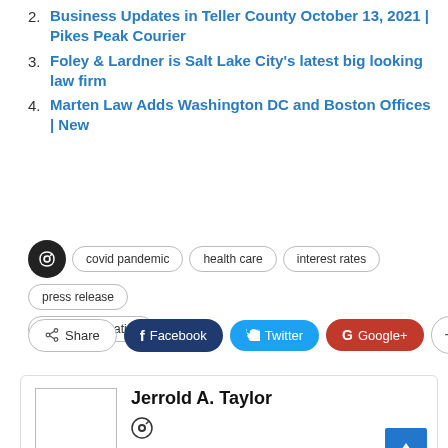2. Business Updates in Teller County October 13, 2021 | Pikes Peak Courier
3. Foley & Lardner is Salt Lake City's latest big looking law firm
4. Marten Law Adds Washington DC and Boston Offices | New
Tags: covid pandemic, health care, interest rates, press release, securities litigation
Share | Facebook | Twitter | Google+ | +
Jerrold A. Taylor